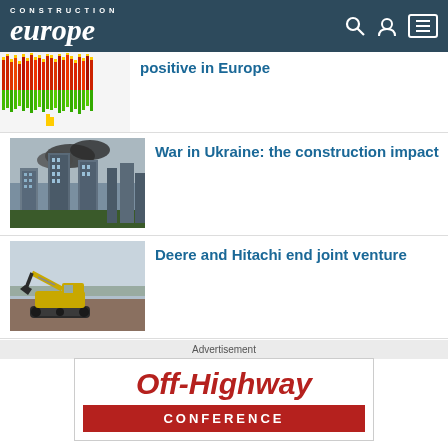Construction Europe
[Figure (other): Bar chart image partially visible — colorful vertical bars in red, yellow, green]
positive in Europe
[Figure (photo): War-torn cityscape with tall buildings and dark smoke in background]
War in Ukraine: the construction impact
[Figure (photo): Yellow and black excavator working on a construction site]
Deere and Hitachi end joint venture
Advertisement
[Figure (logo): Off-Highway Conference logo with red text and banner]